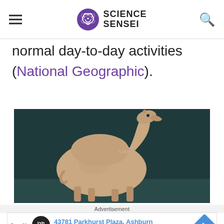Science Sensei
normal day-to-day activities (National Geographic).
[Figure (photo): A dromedary camel with a shrunken hump, photographed in profile against a dark teal background. The camel appears emaciated with visible skin texture on its body.]
Advertisement
43781 Parkhurst Plaza, Ashburn
Up To $75 Off on Goodyear